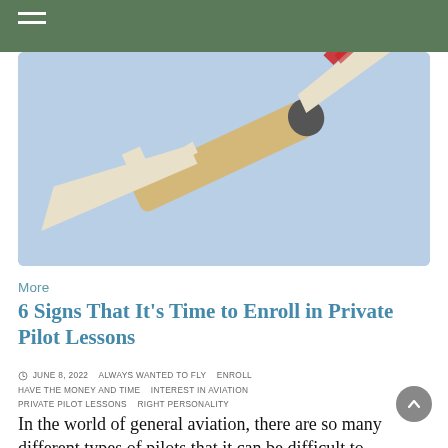[Figure (photo): A light aircraft viewed from below against a light blue sky, showing the underside of the wings and fuselage. The plane has white wings with red markings and a wood-toned body.]
More
6 Signs That It’s Time to Enroll in Private Pilot Lessons
JUNE 8, 2022   ALWAYS WANTED TO FLY   ENROLL   HAVE THE MONEY AND TIME   INTEREST IN AVIATION   PRIVATE PILOT LESSONS   RIGHT PERSONALITY
In the world of general aviation, there are so many different types of pilots that it can be difficult to